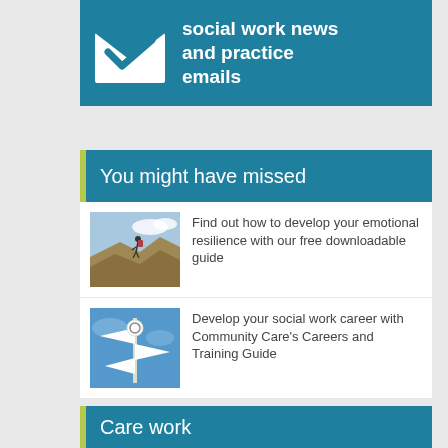[Figure (illustration): Teal banner with white email envelope icon and text 'social work news and practice emails']
You might have missed
Find out how to develop your emotional resilience with our free downloadable guide
Develop your social work career with Community Care's Careers and Training Guide
Care work